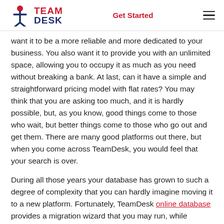TeamDesk — Get Started
want it to be a more reliable and more dedicated to your business. You also want it to provide you with an unlimited space, allowing you to occupy it as much as you need without breaking a bank. At last, can it have a simple and straightforward pricing model with flat rates? You may think that you are asking too much, and it is hardly possible, but, as you know, good things come to those who wait, but better things come to those who go out and get them. There are many good platforms out there, but when you come across TeamDesk, you would feel that your search is over.
During all those years your database has grown to such a degree of complexity that you can hardly imagine moving it to a new platform. Fortunately, TeamDesk online database provides a migration wizard that you may run, while TeamDesk now also offers a